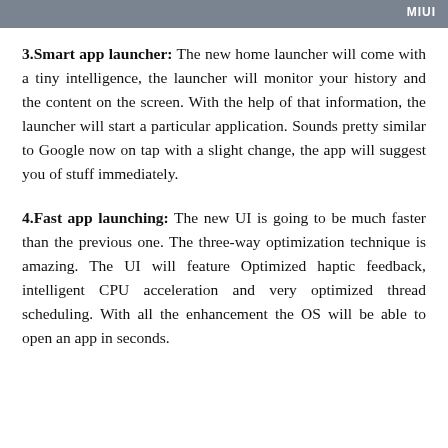MIUI
3.Smart app launcher: The new home launcher will come with a tiny intelligence, the launcher will monitor your history and the content on the screen. With the help of that information, the launcher will start a particular application. Sounds pretty similar to Google now on tap with a slight change, the app will suggest you of stuff immediately.
4.Fast app launching: The new UI is going to be much faster than the previous one. The three-way optimization technique is amazing. The UI will feature Optimized haptic feedback, intelligent CPU acceleration and very optimized thread scheduling. With all the enhancement the OS will be able to open an app in seconds.